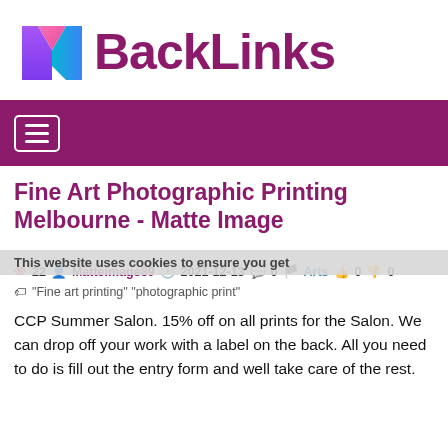[Figure (logo): MBackLinks logo with colorful M icon and purple BackLinks text]
[Figure (other): Purple navigation bar with hamburger menu icon]
Fine Art Photographic Printing Melbourne - Matte Image
This website uses cookies to ensure you get
👁 22  Matteimage89  2021-12-13  💬 0  🏴 Arts  👍 0  👎 0
🏷 "Fine art printing" "photographic print"
CCP Summer Salon. 15% off on all prints for the Salon. We can drop off your work with a label on the back. All you need to do is fill out the entry form and well take care of the rest.